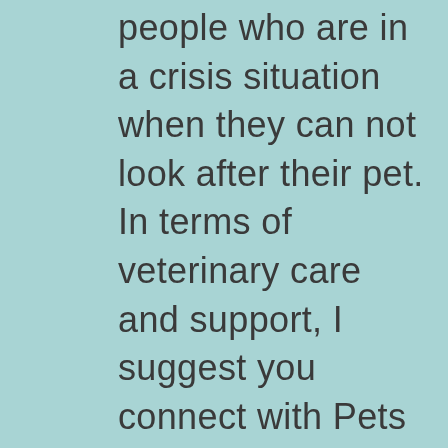people who are in a crisis situation when they can not look after their pet. In terms of veterinary care and support, I suggest you connect with Pets in the Park charity who run free clinics at Darlinghurst on the last Sunday of the month. Cheers, CAthy